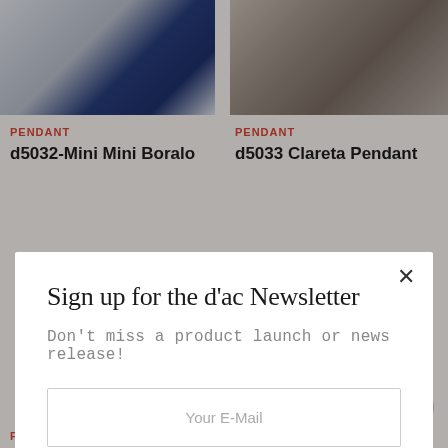[Figure (screenshot): Background product grid page showing pendant lamp products and a newsletter signup modal overlay. Top row shows two pendant lamps with labels. Bottom row shows two pink pendant lamps. A modal dialog is centered on the page.]
PENDANT
d5032-Mini Mini Boralo
PENDANT
d5033 Clareta Pendant
Sign up for the d'ac Newsletter
Don't miss a product launch or news release!
Your E-Mail
SIGN UP
PENDANT
PENDANT